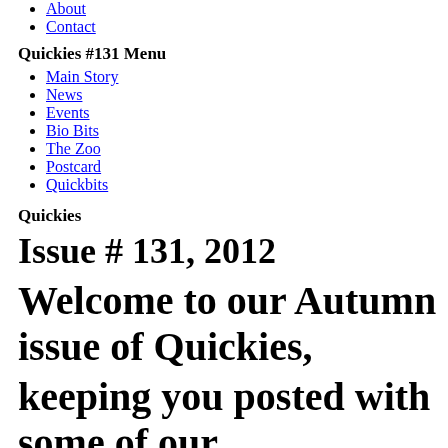About
Contact
Quickies #131 Menu
Main Story
News
Events
Bio Bits
The Zoo
Postcard
Quickbits
Quickies
Issue # 131, 2012
Welcome to our Autumn issue of Quickies,
keeping you posted with some of our